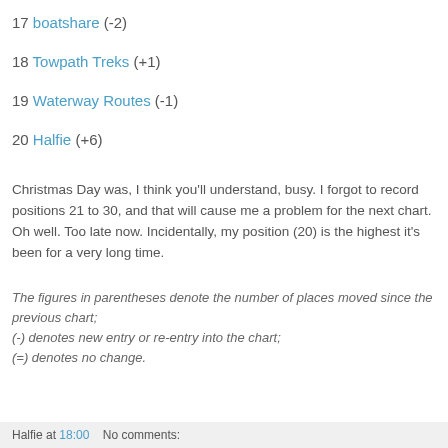17 boatshare (-2)
18 Towpath Treks (+1)
19 Waterway Routes (-1)
20 Halfie (+6)
Christmas Day was, I think you'll understand, busy. I forgot to record positions 21 to 30, and that will cause me a problem for the next chart. Oh well. Too late now. Incidentally, my position (20) is the highest it's been for a very long time.
The figures in parentheses denote the number of places moved since the previous chart;
(-) denotes new entry or re-entry into the chart;
(=) denotes no change.
Halfie at 18:00   No comments: